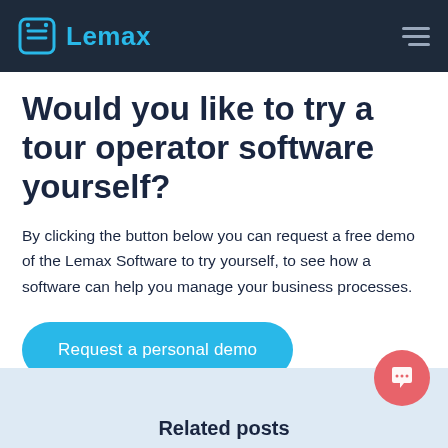Lemax
Would you like to try a tour operator software yourself?
By clicking the button below you can request a free demo of the Lemax Software to try yourself, to see how a software can help you manage your business processes.
Request a personal demo
Related posts